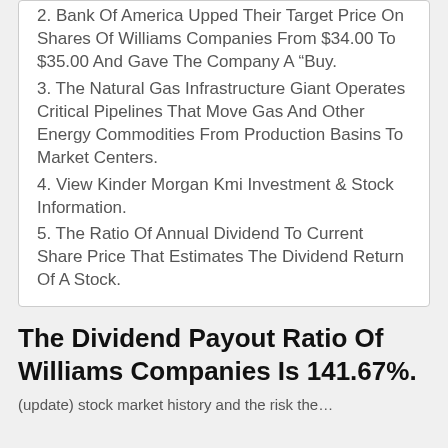2. Bank Of America Upped Their Target Price On Shares Of Williams Companies From $34.00 To $35.00 And Gave The Company A “Buy.
3. The Natural Gas Infrastructure Giant Operates Critical Pipelines That Move Gas And Other Energy Commodities From Production Basins To Market Centers.
4. View Kinder Morgan Kmi Investment & Stock Information.
5. The Ratio Of Annual Dividend To Current Share Price That Estimates The Dividend Return Of A Stock.
The Dividend Payout Ratio Of Williams Companies Is 141.67%.
(update) stock market history and the risk the...